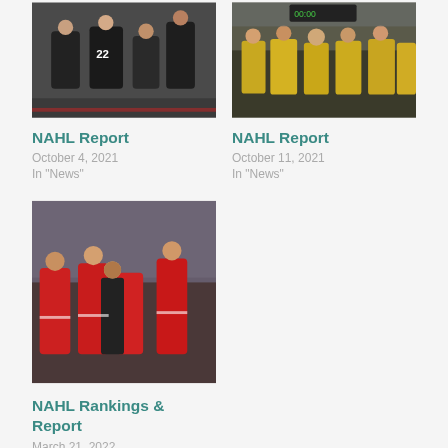[Figure (photo): Hockey players in black jerseys celebrating, number 22 visible]
NAHL Report
October 4, 2021
In "News"
[Figure (photo): Hockey team in yellow jerseys sitting on bench]
NAHL Report
October 11, 2021
In "News"
[Figure (photo): Hockey players in red jerseys posing with a person in a black hoodie]
NAHL Rankings & Report
March 21, 2022
In "News"